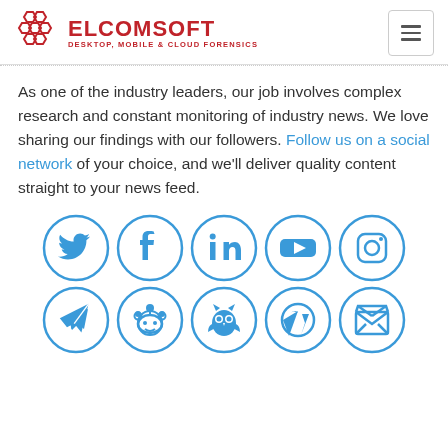ELCOMSOFT — DESKTOP, MOBILE & CLOUD FORENSICS
As one of the industry leaders, our job involves complex research and constant monitoring of industry news. We love sharing our findings with our followers. Follow us on a social network of your choice, and we'll deliver quality content straight to your news feed.
[Figure (infographic): Two rows of five circular social media icons: Twitter, Facebook, LinkedIn, YouTube, Instagram (top row); Telegram, Reddit, Hootsuite/Owly, WordPress, Email (bottom row)]